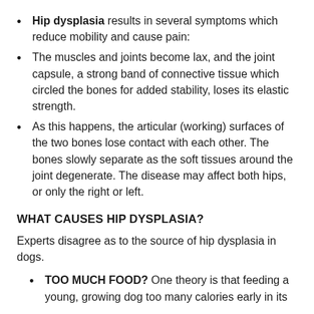Hip dysplasia results in several symptoms which reduce mobility and cause pain:
The muscles and joints become lax, and the joint capsule, a strong band of connective tissue which circled the bones for added stability, loses its elastic strength.
As this happens, the articular (working) surfaces of the two bones lose contact with each other. The bones slowly separate as the soft tissues around the joint degenerate. The disease may affect both hips, or only the right or left.
WHAT CAUSES HIP DYSPLASIA?
Experts disagree as to the source of hip dysplasia in dogs.
TOO MUCH FOOD? One theory is that feeding a young, growing dog too many calories early in its